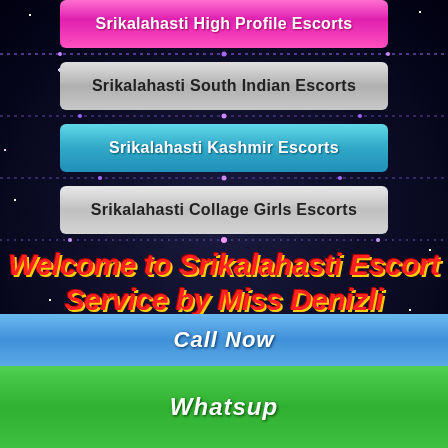Srikalahasti High Profile Escorts
Srikalahasti South Indian Escorts
Srikalahasti Kashmir Escorts
Srikalahasti Collage Girls Escorts
Welcome to Srikalahasti Escort Service by Miss Denizli
[Figure (photo): Promotional banner showing a woman in red dress lying down, with text: We Offer Genuine and High Profile Girls, Top Class Models, VIP Available Now]
Call Now
Whatsup